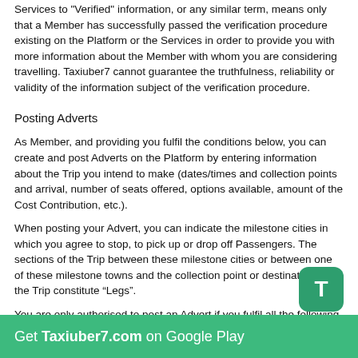Services to "Verified" information, or any similar term, means only that a Member has successfully passed the verification procedure existing on the Platform or the Services in order to provide you with more information about the Member with whom you are considering travelling. Taxiuber7 cannot guarantee the truthfulness, reliability or validity of the information subject of the verification procedure.
Posting Adverts
As Member, and providing you fulfil the conditions below, you can create and post Adverts on the Platform by entering information about the Trip you intend to make (dates/times and collection points and arrival, number of seats offered, options available, amount of the Cost Contribution, etc.).
When posting your Advert, you can indicate the milestone cities in which you agree to stop, to pick up or drop off Passengers. The sections of the Trip between these milestone cities or between one of these milestone towns and the collection point or destination of the Trip constitute “Legs”.
You are only authorised to post an Advert if you fulfil all the following conditions: